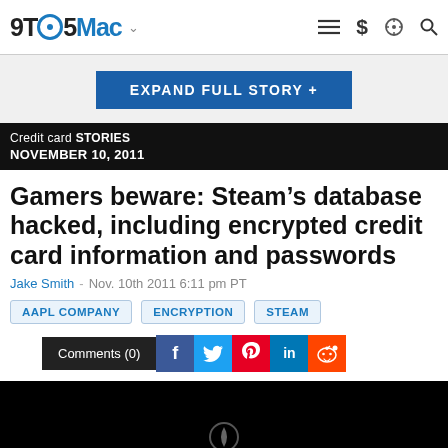9TO5Mac
EXPAND FULL STORY +
Credit card STORIES NOVEMBER 10, 2011
Gamers beware: Steam’s database hacked, including encrypted credit card information and passwords
Jake Smith - Nov. 10th 2011 6:11 pm PT
AAPL COMPANY
ENCRYPTION
STEAM
Comments (0)
[Figure (screenshot): Dark/black image area at the bottom of the article page]